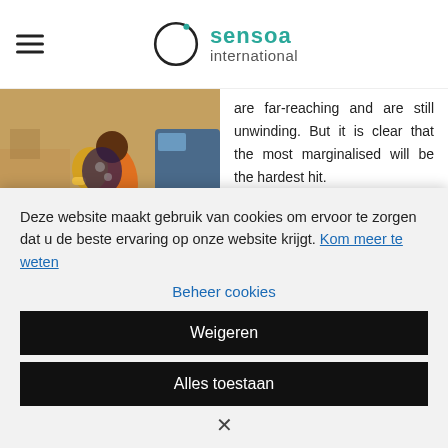[Figure (logo): Sensoa International logo with circular icon and teal text]
[Figure (photo): Woman with child on back walking in an outdoor setting]
are far-reaching and are still unwinding. But it is clear that the most marginalised will be the hardest hit.
Deze website maakt gebruik van cookies om ervoor te zorgen dat u de beste ervaring op onze website krijgt. Kom meer te weten
Beheer cookies
Weigeren
Alles toestaan